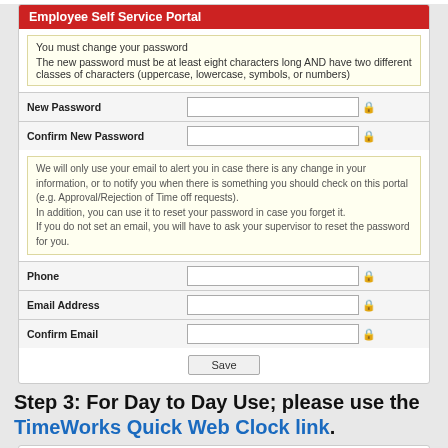Employee Self Service Portal
You must change your password
The new password must be at least eight characters long AND have two different classes of characters (uppercase, lowercase, symbols, or numbers)
New Password
Confirm New Password
We will only use your email to alert you in case there is any change in your information, or to notify you when there is something you should check on this portal (e.g. Approval/Rejection of Time off requests).
In addition, you can use it to reset your password in case you forget it.
If you do not set an email, you will have to ask your supervisor to reset the password for you.
Phone
Email Address
Confirm Email
Save
Step 3: For Day to Day Use; please use the TimeWorks Quick Web Clock link.
[Figure (screenshot): Bottom portion of a web portal screenshot showing a dark navigation bar]